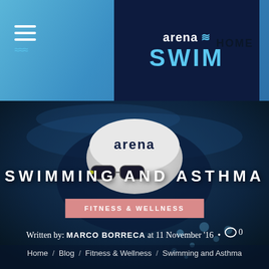[Figure (logo): Arena Swim logo on dark navy background with teal wave marks]
HOME
[Figure (photo): Underwater photo of a swimmer wearing an Arena swim cap, submerged in dark blue water]
SWIMMING AND ASTHMA
FITNESS & WELLNESS
Written by: MARCO BORRECA at 11 November '16 • 0
Home / Blog / Fitness & Wellness / Swimming and Asthma